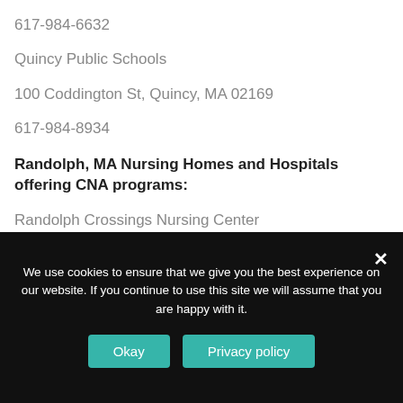617-984-6632
Quincy Public Schools
100 Coddington St, Quincy, MA 02169
617-984-8934
Randolph, MA Nursing Homes and Hospitals offering CNA programs:
Randolph Crossings Nursing Center
49 Thomas Patten Dr, Randolph, MA 02368
617-961-1160
We use cookies to ensure that we give you the best experience on our website. If you continue to use this site we will assume that you are happy with it.